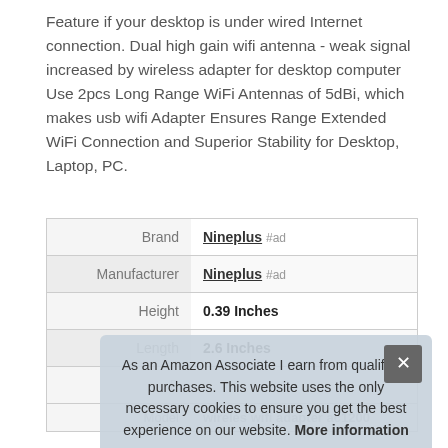Feature if your desktop is under wired Internet connection. Dual high gain wifi antenna - weak signal increased by wireless adapter for desktop computer Use 2pcs Long Range WiFi Antennas of 5dBi, which makes usb wifi Adapter Ensures Range Extended WiFi Connection and Superior Stability for Desktop, Laptop, PC.
|  |  |
| --- | --- |
| Brand | Nineplus #ad |
| Manufacturer | Nineplus #ad |
| Height | 0.39 Inches |
| Length | 2.6 Inches |
| P... |  |
| Model | wireles wifi adapter ac1200 |
As an Amazon Associate I earn from qualifying purchases. This website uses the only necessary cookies to ensure you get the best experience on our website. More information